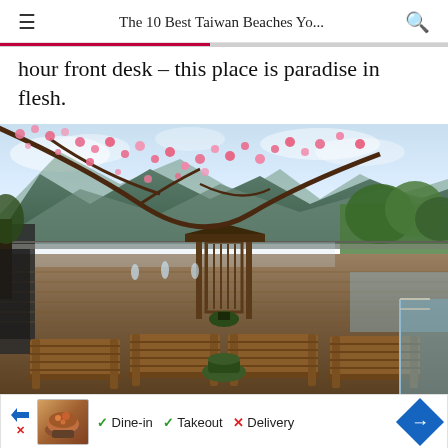The 10 Best Taiwan Beaches Yo...
hour front desk – this place is paradise in flesh.
[Figure (photo): Outdoor terrace of a Taiwan resort with wooden lounge chairs in the foreground, a wooden pavilion structure, lush green trees, cherry blossom branches with pink flowers overhead, and mountains in the background under a partly cloudy sky.]
✓ Dine-in  ✓ Takeout  ✗ Delivery